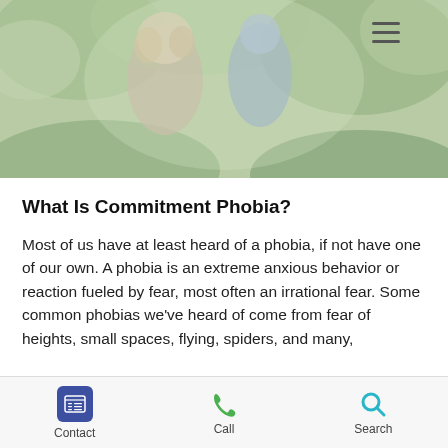[Figure (photo): Hero photo of a smiling couple outdoors in a garden setting, woman with curly blonde hair wearing a cardigan, man in denim shirt. A hamburger menu icon appears in the upper right.]
What Is Commitment Phobia?
Most of us have at least heard of a phobia, if not have one of our own. A phobia is an extreme anxious behavior or reaction fueled by fear, most often an irrational fear. Some common phobias we've heard of come from fear of heights, small spaces, flying, spiders, and many,
Contact | Call | Search